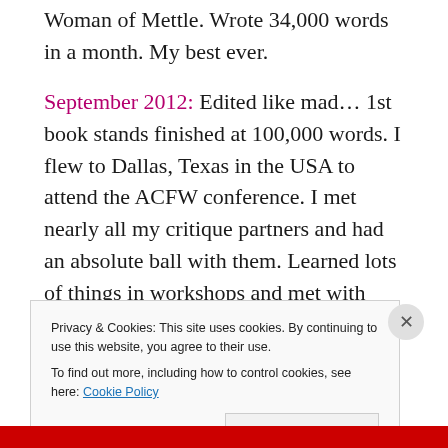Woman of Mettle. Wrote 34,000 words in a month. My best ever.
September 2012: Edited like mad… 1st book stands finished at 100,000 words. I flew to Dallas, Texas in the USA to attend the ACFW conference. I met nearly all my critique partners and had an absolute ball with them. Learned lots of things in workshops and met with agents and an editor. Out of three appointments I had two requests for my
Privacy & Cookies: This site uses cookies. By continuing to use this website, you agree to their use.
To find out more, including how to control cookies, see here: Cookie Policy
Close and accept